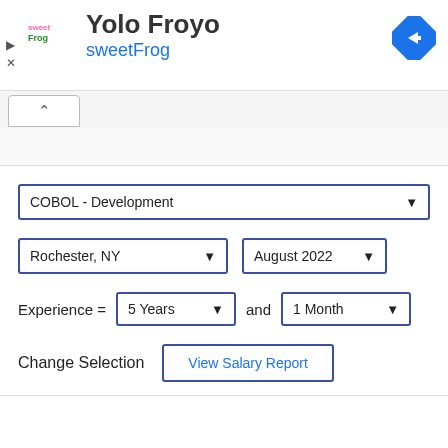[Figure (logo): sweetFrog logo - colorful text logo with frog branding]
Yolo Froyo
sweetFrog
[Figure (other): Blue diamond navigation/directions icon with right-pointing arrow]
COBOL - Development (dropdown)
Rochester, NY (dropdown), August 2022 (dropdown)
Experience = 5 Years (dropdown) and 1 Month (dropdown)
Change Selection   View Salary Report